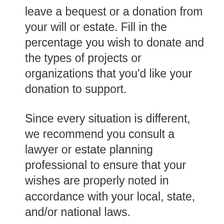leave a bequest or a donation from your will or estate. Fill in the percentage you wish to donate and the types of projects or organizations that you'd like your donation to support.
Since every situation is different, we recommend you consult a lawyer or estate planning professional to ensure that your wishes are properly noted in accordance with your local, state, and/or national laws.
Gift to GlobalGiving.
The Trustee shall distribute a pecuniary amount